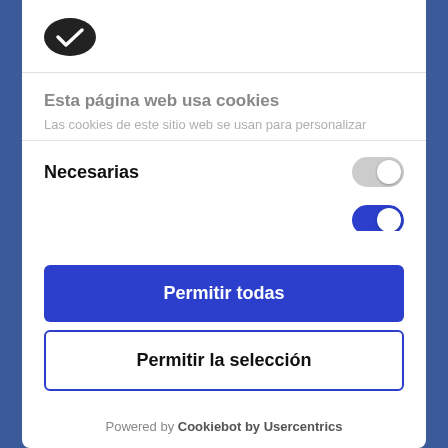[Figure (logo): Cookie consent logo - dark oval cookie shape with white checkmark]
Esta página web usa cookies
Las cookies de este sitio web se usan para personalizar
Necesarias
Permitir todas
Permitir la selección
Powered by Cookiebot by Usercentrics